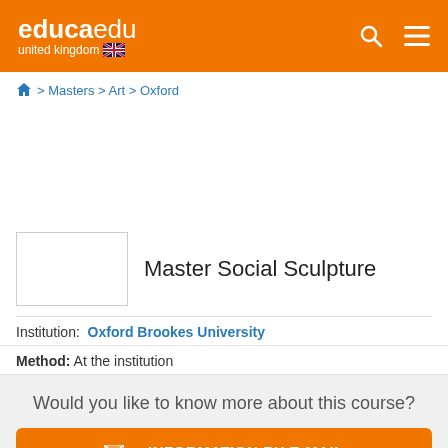educaedu united kingdom
🏠 > Masters > Art > Oxford
Master Social Sculpture
Institution: Oxford Brookes University
Method: At the institution
Would you like to know more about this course?
+ INFORMATION BY E-MAIL